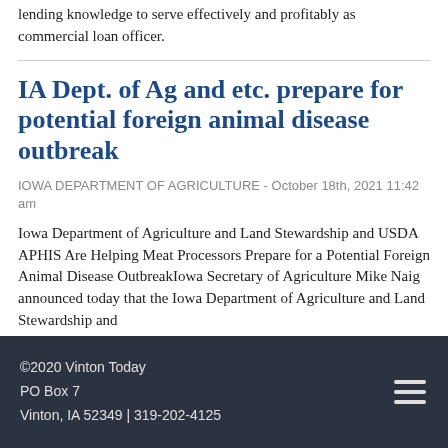lending knowledge to serve effectively and profitably as commercial loan officer.
IA Dept. of Ag and etc. prepare for potential foreign animal disease outbreak
IOWA DEPARTMENT OF AGRICULTURE - October 18th, 2021 11:42 am
Iowa Department of Agriculture and Land Stewardship and USDA APHIS Are Helping Meat Processors Prepare for a Potential Foreign Animal Disease OutbreakIowa Secretary of Agriculture Mike Naig announced today that the Iowa Department of Agriculture and Land Stewardship and
©2020 Vinton Today
PO Box 7
Vinton, IA 52349 | 319-202-4125